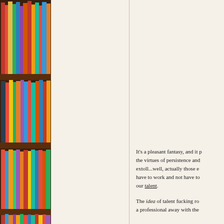[Figure (photo): Tall bookshelf filled with colorful books in red, orange, yellow, green, and blue spines, with dark brown wooden shelves, occupying the left portion of the page.]
It's a pleasant fantasy, and it perpetuates the virtues of persistence and hard work — we extoll...well, actually those extolling it would have to work and not have to rely solely on our talent.
The idea of talent fucking ro... a professional away with the...